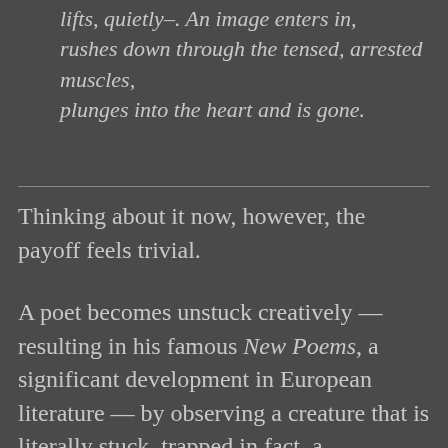Only at times, the curtain of the pupils lifts, quietly–. An image enters in, rushes down through the tensed, arrested muscles, plunges into the heart and is gone.
Thinking about it now, however, the payoff feels trivial.
A poet becomes unstuck creatively — resulting in his famous New Poems, a significant development in European literature — by observing a creature that is literally stuck, trapped in fact, a magnificent powerful ebony